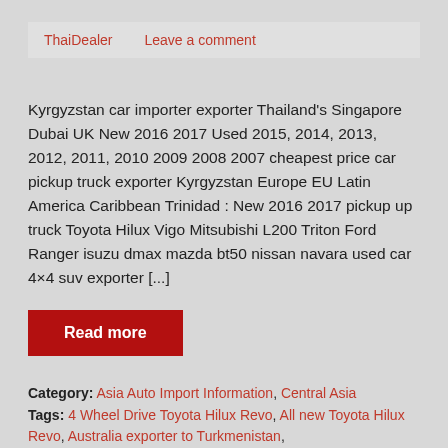ThaiDealer   Leave a comment
Kyrgyzstan car importer exporter Thailand’s Singapore Dubai UK New 2016 2017 Used 2015, 2014, 2013, 2012, 2011, 2010 2009 2008 2007 cheapest price car pickup truck exporter Kyrgyzstan Europe EU Latin America Caribbean Trinidad : New 2016 2017 pickup up truck Toyota Hilux Vigo Mitsubishi L200 Triton Ford Ranger isuzu dmax mazda bt50 nissan navara used car 4×4 suv exporter [...]
Read more
Category: Asia Auto Import Information, Central Asia Tags: 4 Wheel Drive Toyota Hilux Revo, All new Toyota Hilux Revo, Australia exporter to Turkmenistan,